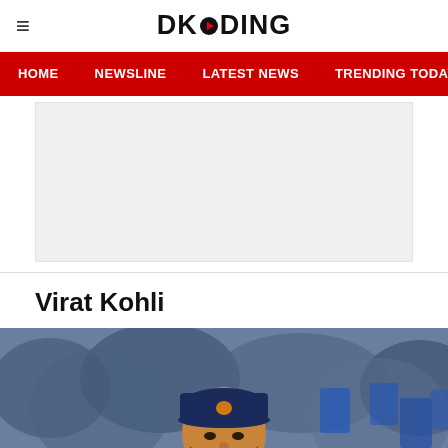DKODING
HOME  NEWSLINE  LATEST NEWS  TRENDING TODAY  ENT
[Figure (other): Advertisement placeholder banner, light gray background]
Virat Kohli
[Figure (photo): Virat Kohli, Indian cricket captain, celebrating in India blue jersey with orange INDIA text, pumping fist, mouth open, wearing navy blue cap, crowd in background]